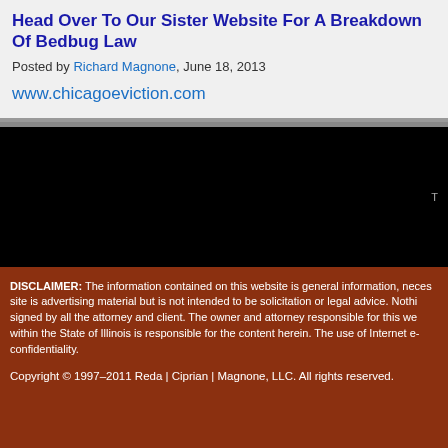Head Over To Our Sister Website For A Breakdown Of Bedbug Law
Posted by Richard Magnone, June 18, 2013
www.chicagoeviction.com
[Figure (screenshot): Black video player area with small text label in lower right corner]
DISCLAIMER: The information contained on this website is general information, neces site is advertising material but is not intended to be solicitation or legal advice. Nothi signed by all the attorney and client. The owner and attorney responsible for this we within the State of Illinois is responsible for the content herein. The use of Internet e- confidentiality.
Copyright © 1997–2011 Reda | Ciprian | Magnone, LLC. All rights reserved.